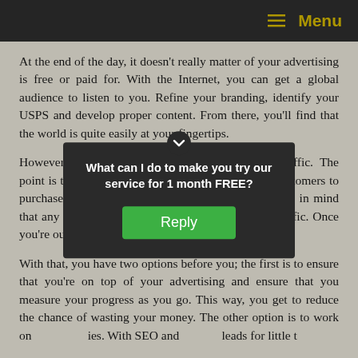Menu
At the end of the day, it doesn't really matter of your advertising is free or paid for. With the Internet, you can get a global audience to listen to you. Refine your branding, identify your USPS and develop proper content. From there, you'll find that the world is quite easily at your fingertips.
However,note that the most important metric is traffic. The point is to try to establish trust, and persuade your customers to purchase from you with clever means. However, keep in mind that any form of paid advertising really only rents traffic. Once you're out of money,your traffic flow stops.
With that, you have two options before you; the first is to ensure that you're on top of your advertising and ensure that you measure your progress as you go. This way, you get to reduce the chance of wasting your money. The other option is to work on strategies. With SEO and leads for little t
The opp
[Figure (other): Popup dialog with dark background asking 'What can I do to make you try our service for 1 month FREE?' with a green Reply button]